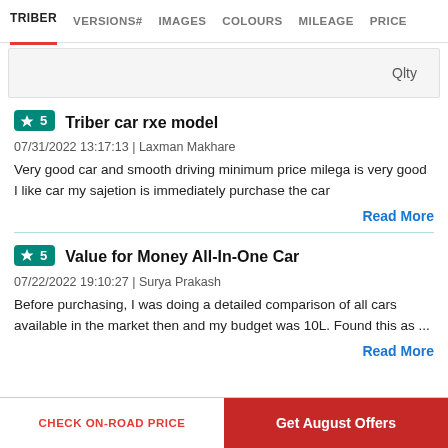TRIBER  VERSIONS#  IMAGES  COLOURS  MILEAGE  PRICE
Qlty
Triber car rxe model
07/31/2022 13:17:13 | Laxman Makhare
Very good car and smooth driving minimum price milega is very good I like car my sajetion is immediately purchase the car
Read More
Value for Money All-In-One Car
07/22/2022 19:10:27 | Surya Prakash
Before purchasing, I was doing a detailed comparison of all cars available in the market then and my budget was 10L. Found this as ...
Read More
CHECK ON-ROAD PRICE  |  Get August Offers